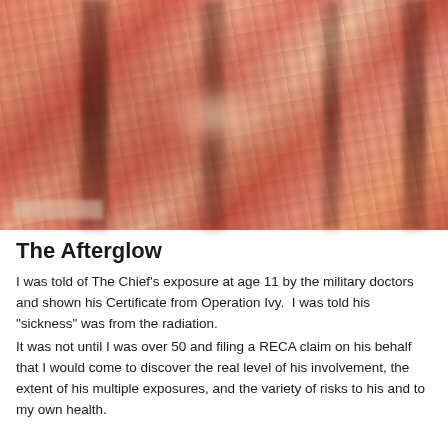[Figure (photo): Blurry reddish-orange photograph, likely an archival or overexposed image showing indistinct figures or scenery with dark vertical streaks and warm tones throughout]
The Afterglow
I was told of The Chief's exposure at age 11 by the military doctors and shown his Certificate from Operation Ivy.  I was told his "sickness" was from the radiation.
It was not until I was over 50 and filing a RECA claim on his behalf that I would come to discover the real level of his involvement, the extent of his multiple exposures, and the variety of risks to his and to my own health.